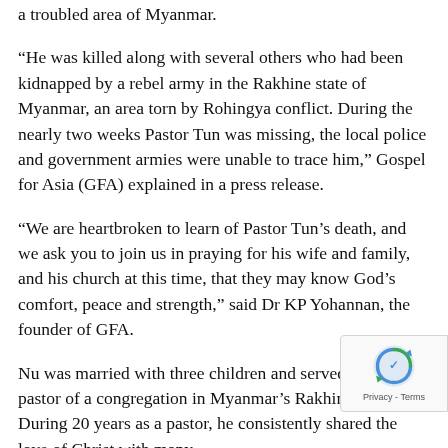a troubled area of Myanmar.
“He was killed along with several others who had been kidnapped by a rebel army in the Rakhine state of Myanmar, an area torn by Rohingya conflict. During the nearly two weeks Pastor Tun was missing, the local police and government armies were unable to trace him,” Gospel for Asia (GFA) explained in a press release.
“We are heartbroken to learn of Pastor Tun’s death, and we ask you to join us in praying for his wife and family, and his church at this time, that they may know God’s comfort, peace and strength,” said Dr KP Yohannan, the founder of GFA.
Nu was married with three children and served as the pastor of a congregation in Myanmar’s Rakhine state. During 20 years as a pastor, he consistently shared the love of Christ with many